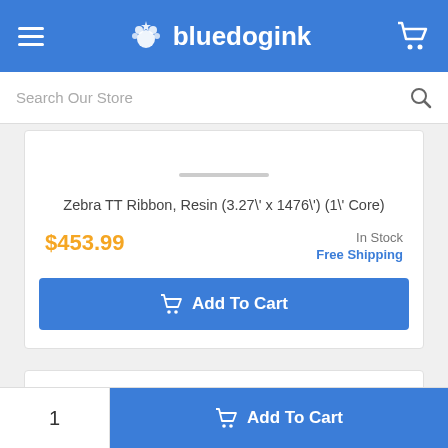bluedogink
Search Our Store
Zebra TT Ribbon, Resin (3.27\' x 1476\') (1\' Core)
$453.99
In Stock
Free Shipping
Add To Cart
1
Add To Cart